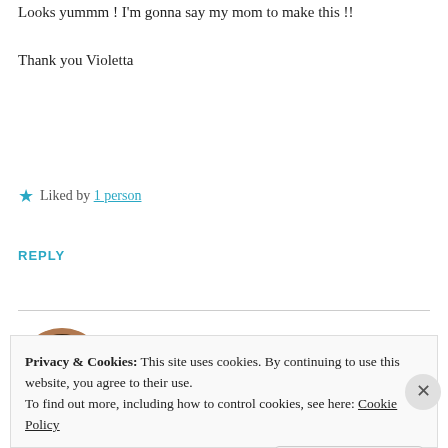Looks yummm ! I'm gonna say my mom to make this !!
Thank you Violetta
Liked by 1 person
REPLY
Violetta Sochka Khamis
OCTOBER 9, 2018 AT 8:11 PM
Privacy & Cookies: This site uses cookies. By continuing to use this website, you agree to their use.
To find out more, including how to control cookies, see here: Cookie Policy
Close and accept